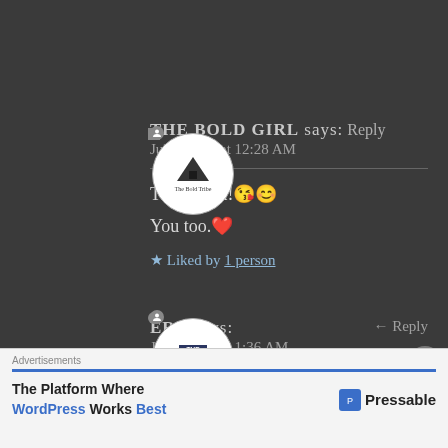THE BOLD GIRL says: Reply
Jul 4, 2020 at 12:28 AM
Thank you!🥰😊

You too.❤

★ Liked by 1 person
ERA says: Reply
Jul 4, 2020 at 1:36 AM
Advertisements
The Platform Where WordPress Works Best — Pressable